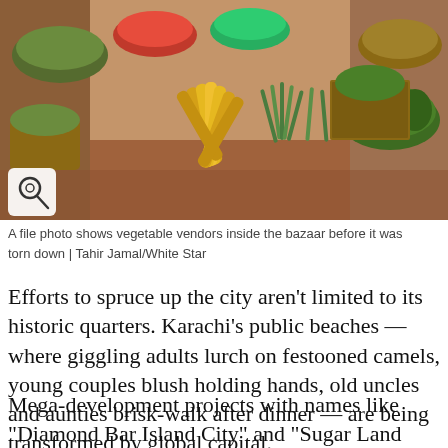[Figure (photo): A file photo showing vegetable vendors inside a bazaar with various vegetables including bananas, corn, green beans, and other produce displayed in baskets and crates.]
A file photo shows vegetable vendors inside the bazaar before it was torn down | Tahir Jamal/White Star
Efforts to spruce up the city aren’t limited to its historic quarters. Karachi’s public beaches — where giggling adults lurch on festooned camels, young couples blush holding hands, old uncles and aunties brisk-walk after dinner — are being transformed by global capital.
Mega-development projects with names like “Diamond Bar Island City” and “Sugar Land City” are being planned on 68,000 acres along the coast. Further away, on the outskirts of the city, gated communities promise to